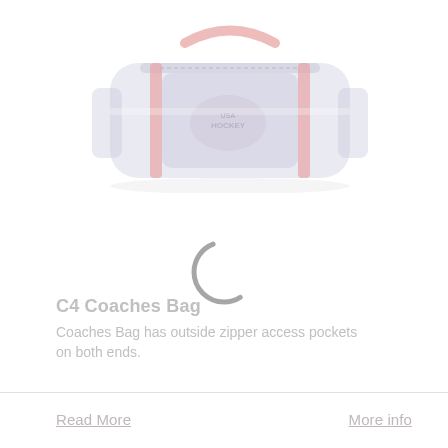[Figure (photo): A USA Hockey branded coaches duffel bag in dark navy/black with red handles and straps, shown at a slight angle. The bag has the USA Hockey logo on the front and visible end pockets.]
[Figure (other): A loading spinner (circular arc indicator) overlaid in the center of the page, indicating content is loading.]
C4 Coaches Bag
Coaches Bag has outside zipper access pockets on both ends.
Read More
More info